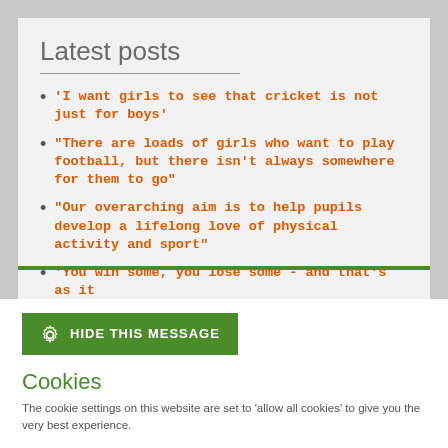Latest posts
‘I want girls to see that cricket is not just for boys’
“There are loads of girls who want to play football, but there isn’t always somewhere for them to go”
“Our overarching aim is to help pupils develop a lifelong love of physical activity and sport”
‘You win some, you lose some - and that’s as it
HIDE THIS MESSAGE
Cookies
The cookie settings on this website are set to ‘allow all cookies’ to give you the very best experience.